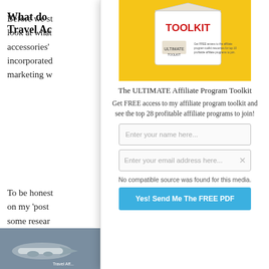Before we st...look at what...accessories'...incorporated...marketing w
What do...Travel Ac
To be honest...on my 'post'...some resear
[Figure (screenshot): Popup overlay showing 'The ULTIMATE Affiliate Program Toolkit' with a yellow background product box image, description text 'Get FREE access to my affiliate program toolkit and see the top 28 profitable affiliate programs to join!', name input field, email input field with close X, and a blue 'Yes! Send Me The FREE PDF' button.]
No compatible source was found for this media.
[Figure (screenshot): Bottom banner showing a travel-related advertisement with an airplane image and text about 'Best Affiliate Programs' with OptinMonster branding and a close X button.]